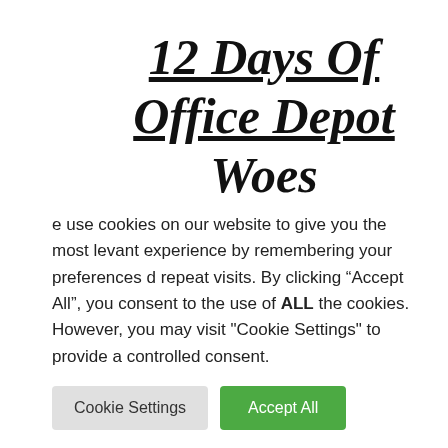12 Days Of Office Depot Woes
[Figure (infographic): Social media share buttons sidebar: Facebook (blue), Twitter (blue), Email (teal), LinkedIn (blue), Reddit (orange), Share+ (green)]
NECESSARY KNOWLEDGE
Once Upon a Business, to Office Depot I did
e use cookies on our website to give you the most levant experience by remembering your preferences d repeat visits. By clicking “Accept All”, you consent to the use of ALL the cookies. However, you may visit "Cookie Settings" to provide a controlled consent.
Cookie Settings
Accept All